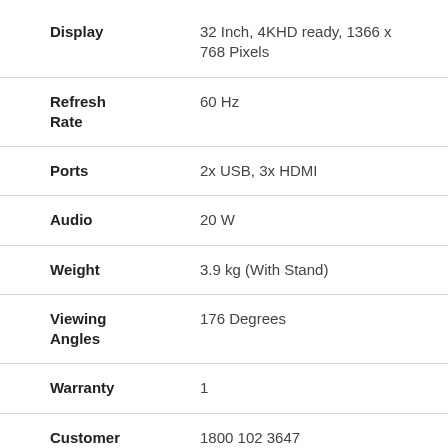| Specification | Value |
| --- | --- |
| Display | 32 Inch, 4KHD ready, 1366 x 768 Pixels |
| Refresh Rate | 60 Hz |
| Ports | 2x USB, 3x HDMI |
| Audio | 20 W |
| Weight | 3.9 kg (With Stand) |
| Viewing Angles | 176 Degrees |
| Warranty | 1 |
| Customer Care | 1800 102 3647 |